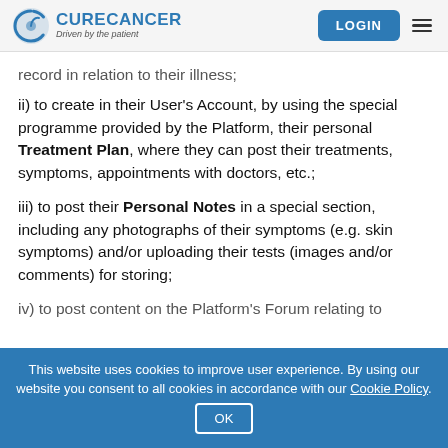CureCancer — Driven by the patient | LOGIN
record in relation to their illness;
ii) to create in their User's Account, by using the special programme provided by the Platform, their personal Treatment Plan, where they can post their treatments, symptoms, appointments with doctors, etc.;
iii) to post their Personal Notes in a special section, including any photographs of their symptoms (e.g. skin symptoms) and/or uploading their tests (images and/or comments) for storing;
iv) to post content on the Platform's Forum relating to
This website uses cookies to improve user experience. By using our website you consent to all cookies in accordance with our Cookie Policy.